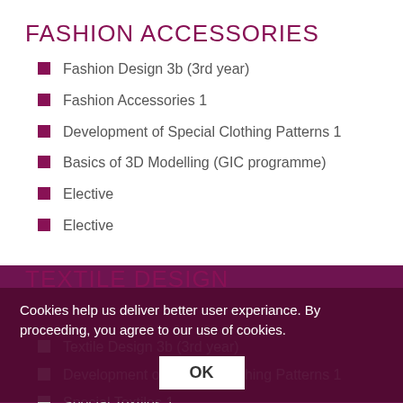FASHION ACCESSORIES
Fashion Design 3b (3rd year)
Fashion Accessories 1
Development of Special Clothing Patterns 1
Basics of 3D Modelling (GIC programme)
Elective
Elective
TEXTILE DESIGN
Textile Design 3b (3rd year)
Development of Special Clothing Patterns 1
Special Textiles 1
Computer-assisted Design for Printing (Textile and Clothing Planning/TCP programme)
Elective
Cookies help us deliver better user experiance. By proceeding, you agree to our use of cookies.